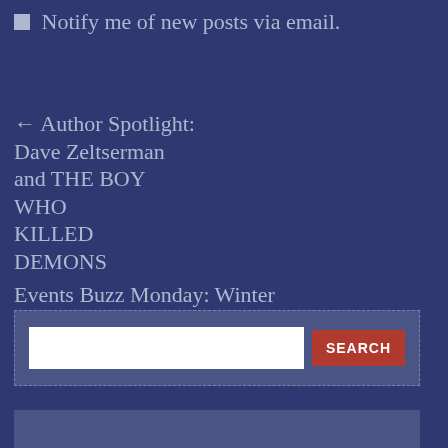☐ Notify me of new posts via email.
← Author Spotlight: Dave Zeltserman and THE BOY WHO KILLED DEMONS
Events Buzz Monday: Winter Wonderland of Events! →
[Figure (screenshot): Search box with text input field and red SEARCH button on a medium blue background with dashed border]